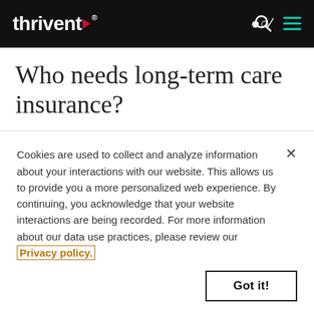thrivent
Who needs long-term care insurance?
No one plans to need long-term care. But the best time to buy protection is before that day ever comes. A person turning age 65 today has almost a 70% chance
Cookies are used to collect and analyze information about your interactions with our website. This allows us to provide you a more personalized web experience. By continuing, you acknowledge that your website interactions are being recorded. For more information about our data use practices, please review our Privacy policy.
Got it!